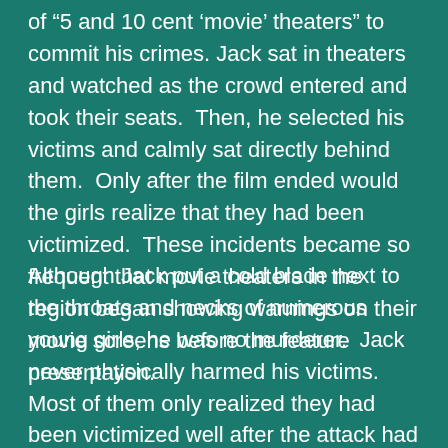of “5 and 10 cent ‘movie’ theaters” to commit his crimes. Jack sat in theaters and watched as the crowd entered and took their seats.  Then, he selected his victims and calmly sat directly behind them.  Only after the film ended would the girls realize that they had been victimized.  These incidents became so frequent that movie theaters in the region began showing warnings on their movie screens before the feature presentation.
Although Jack put a cold blade next to the throats and necks of numerous young girls, he was no murderer.  Jack never physically harmed his victims.  Most of them only realized they had been victimized well after the attack had taken place.  Incidents such as these occurred in multiple cities in the United States.  Many more cases certainly occurred but were never reported to police or printed in newspapers.  Jack had a condition known as